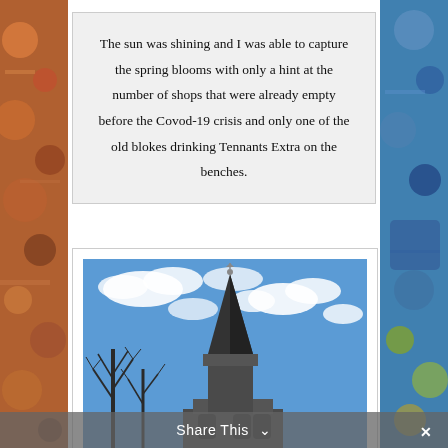The sun was shining and I was able to capture the spring blooms with only a hint at the number of shops that were already empty before the Covod-19 crisis and only one of the old blokes drinking Tennants Extra on the benches.
[Figure (photo): A church steeple with a weathervane against a blue sky with white clouds, bare winter trees on the left side, gothic architecture visible at the bottom]